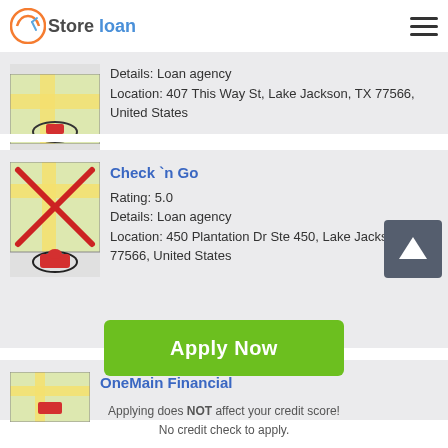Store loan
Details: Loan agency
Location: 407 This Way St, Lake Jackson, TX 77566, United States
Check 'n Go
Rating: 5.0
Details: Loan agency
Location: 450 Plantation Dr Ste 450, Lake Jackson, TX 77566, United States
OneMain Financial
Apply Now
Applying does NOT affect your credit score!
No credit check to apply.